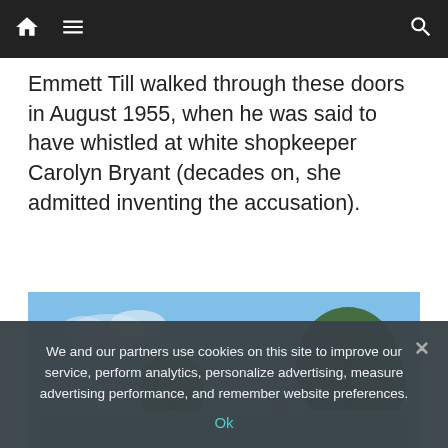Navigation bar with home, menu, and search icons
Emmett Till walked through these doors in August 1955, when he was said to have whistled at white shopkeeper Carolyn Bryant (decades on, she admitted inventing the accusation).
[Figure (photo): Exterior photo of a single-story teal/green house with brick base, carport, and large trees in background under blue sky]
We and our partners use cookies on this site to improve our service, perform analytics, personalize advertising, measure advertising performance, and remember website preferences.